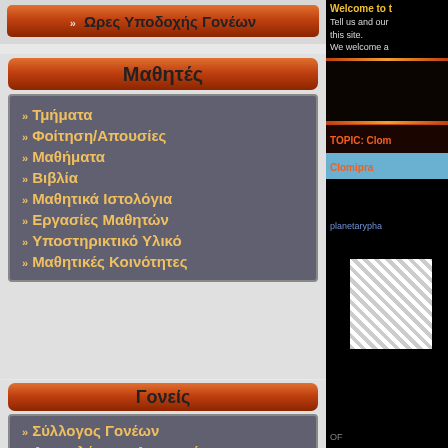» Ωρες Υποδοχής Γονέων
Μαθητές
» Τμήματα
» Φοίτηση/Απουσίες
» Μαθήματα
» Βιβλία
» Μαθητικά Ιστολόγια
» Εργασίες Μαθητών
» Υποστηρικτικό Υλικό
» Μαθητικές Κοινότητες
Γονείς
» Σύλλογος Γονέων
» Δικαιολόγηση Απουσιών
» Ενημέρωση Γονέων
Welcome to t...
Tell us and our this site. We welcome a
TOPIC: Clom
Clomipra
planetarypha
OF